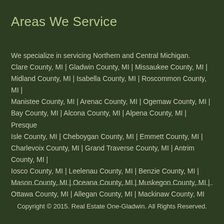Areas We Service
We specialize in servicing Northern and Central Michigan. Clare County, MI | Gladwin County, MI | Missaukee County, MI | Midland County, MI | Isabella County, MI | Roscommon County, MI | Manistee County, MI | Arenac County, MI | Ogemaw County, MI  | Bay County, MI | Alcona County, MI | Alpena County, MI | Presque Isle County, MI | Cheboygan County, MI | Emmett County, MI | Charlevoix County, MI | Grand Traverse County, MI | Antrim County, MI | Iosco County, MI | Leelenau County, MI | Benzie County, MI | Mason County, MI | Oceana County, MI | Muskegon County, MI | Ottawa County, MI | Allegan County, MI | Mackinaw County, MI
Copyright © 2015. Real Estate One-Gladwin. All Rights Reserved.